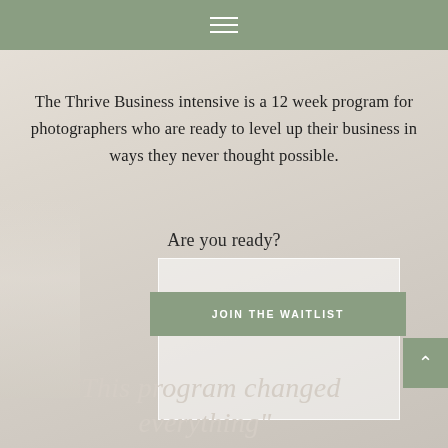Navigation menu (hamburger icon)
The Thrive Business intensive is a 12 week program for photographers who are ready to level up their business in ways they never thought possible.
Are you ready?
JOIN THE WAITLIST
“This program changed everything”